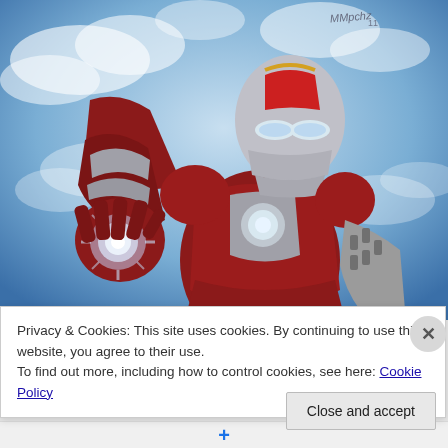[Figure (illustration): Digital artwork / painting of Iron Man in red and silver armor with glowing repulsor in outstretched hand, set against a cloudy blue sky background. Artist signature visible in upper right corner.]
Privacy & Cookies: This site uses cookies. By continuing to use this website, you agree to their use.
To find out more, including how to control cookies, see here: Cookie Policy
Close and accept